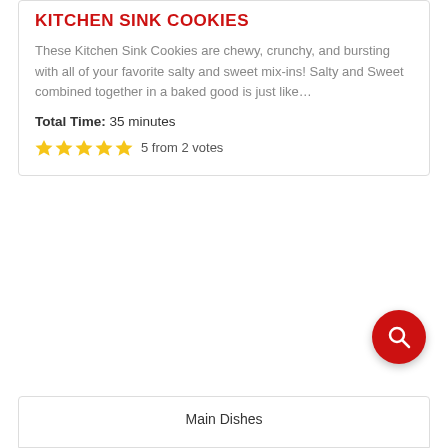KITCHEN SINK COOKIES
These Kitchen Sink Cookies are chewy, crunchy, and bursting with all of your favorite salty and sweet mix-ins! Salty and Sweet combined together in a baked good is just like…
Total Time: 35 minutes
5 from 2 votes
[Figure (other): Red circular search button with magnifying glass icon]
Main Dishes